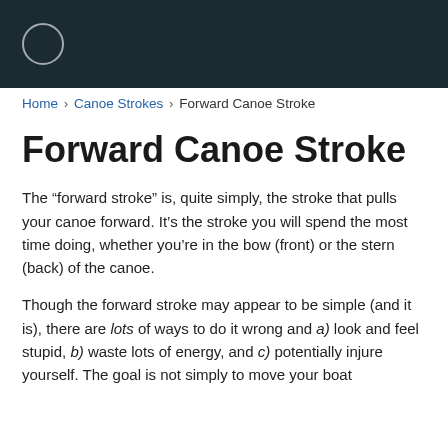Home › Canoe Strokes › Forward Canoe Stroke
Forward Canoe Stroke
The “forward stroke” is, quite simply, the stroke that pulls your canoe forward. It’s the stroke you will spend the most time doing, whether you’re in the bow (front) or the stern (back) of the canoe.
Though the forward stroke may appear to be simple (and it is), there are lots of ways to do it wrong and a) look and feel stupid, b) waste lots of energy, and c) potentially injure yourself. The goal is not simply to move your boat